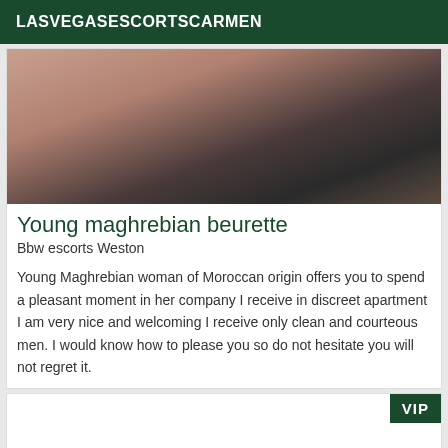LASVEGASESCORTSCARMEN
[Figure (photo): Close-up photo of a person, partially cropped, showing skin and dark clothing background]
Young maghrebian beurette
Bbw escorts Weston
Young Maghrebian woman of Moroccan origin offers you to spend a pleasant moment in her company I receive in discreet apartment I am very nice and welcoming I receive only clean and courteous men. I would know how to please you so do not hesitate you will not regret it.
[Figure (other): Second listing card with VIP badge, image area empty/blank]